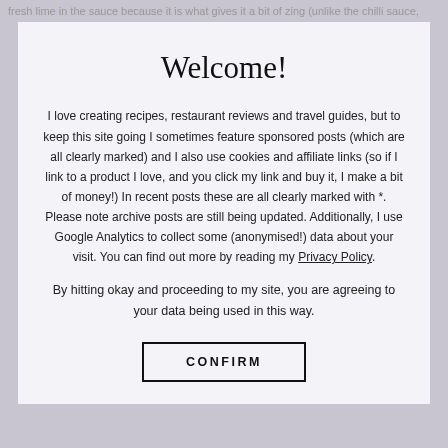fresh lime in the sauce because it is what gives it a bit of zing (unlike the chilli sauce,
Welcome!
I love creating recipes, restaurant reviews and travel guides, but to keep this site going I sometimes feature sponsored posts (which are all clearly marked) and I also use cookies and affiliate links (so if I link to a product I love, and you click my link and buy it, I make a bit of money!) In recent posts these are all clearly marked with *. Please note archive posts are still being updated. Additionally, I use Google Analytics to collect some (anonymised!) data about your visit. You can find out more by reading my Privacy Policy.
By hitting okay and proceeding to my site, you are agreeing to your data being used in this way.
CONFIRM